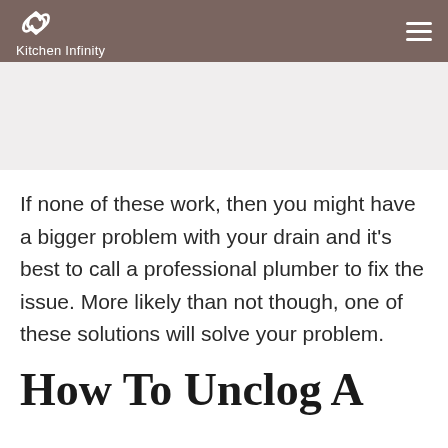Kitchen Infinity
[Figure (photo): Image placeholder area below header]
If none of these work, then you might have a bigger problem with your drain and it's best to call a professional plumber to fix the issue. More likely than not though, one of these solutions will solve your problem.
How To Unclog A